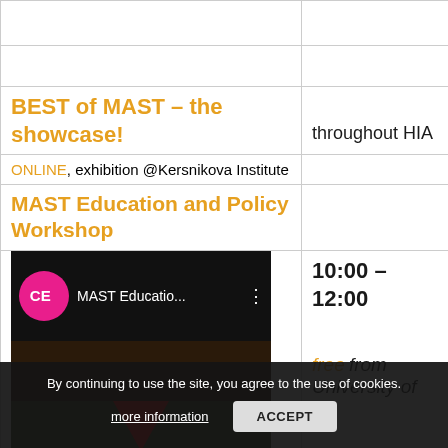| Event | Time/Location |
| --- | --- |
|  |  |
| BEST of MAST – the showcase! | throughout HIA |
| ONLINE, exhibition @Kersnikova Institute |  |
| MAST Education and Policy Workshop
[video thumbnail: MAST Educatio...]
[partial image] | 10:00 – 12:00
[italic orange] free [/italic] from
University of |
By continuing to use the site, you agree to the use of cookies.
more information
ACCEPT